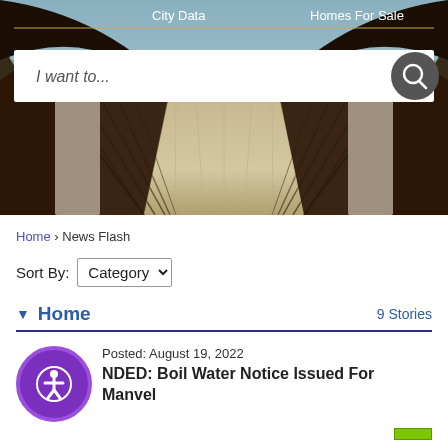[Figure (photo): Hero image of a wooden pedestrian bridge viewed from the entrance, with stone pillars on either side and a path leading into the background with green grass and trees.]
City Data   Homes For Sale
I want to...
Home › News Flash
Sort By: Category
▼ Home   9 Stories
Posted: August 19, 2022
NDED: Boil Water Notice Issued For Manvel